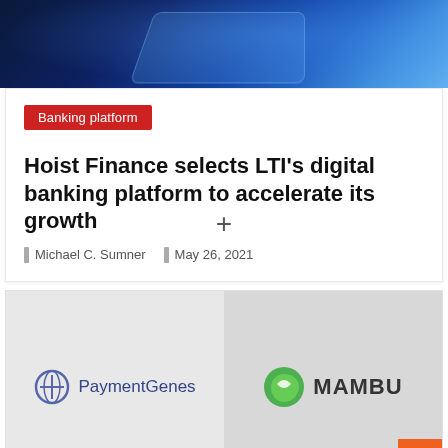[Figure (photo): Dark blue tech background image showing a laptop/screen with blue light reflections]
Banking platform
Hoist Finance selects LTI's digital banking platform to accelerate its growth
Michael C. Sumner   May 26, 2021
[Figure (logo): PaymentGenes + MAMBU logo combination on grey split background]